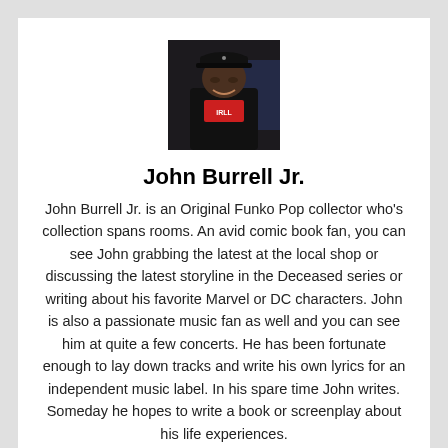[Figure (photo): Profile photo of John Burrell Jr., a man in a black cap and black jacket with a red graphic shirt, photographed indoors in low light.]
John Burrell Jr.
John Burrell Jr. is an Original Funko Pop collector who's collection spans rooms. An avid comic book fan, you can see John grabbing the latest at the local shop or discussing the latest storyline in the Deceased series or writing about his favorite Marvel or DC characters. John is also a passionate music fan as well and you can see him at quite a few concerts. He has been fortunate enough to lay down tracks and write his own lyrics for an independent music label. In his spare time John writes. Someday he hopes to write a book or screenplay about his life experiences.